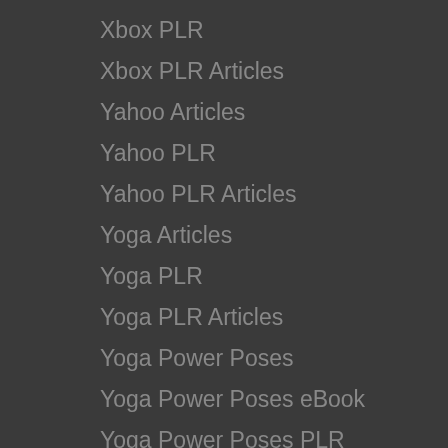Xbox PLR
Xbox PLR Articles
Yahoo Articles
Yahoo PLR
Yahoo PLR Articles
Yoga Articles
Yoga PLR
Yoga PLR Articles
Yoga Power Poses
Yoga Power Poses eBook
Yoga Power Poses PLR
Yoga Power Poses PLR eBook
YouTube
YouTube Advertising
YouTube Advertising eBook
YouTube Advertising PLR